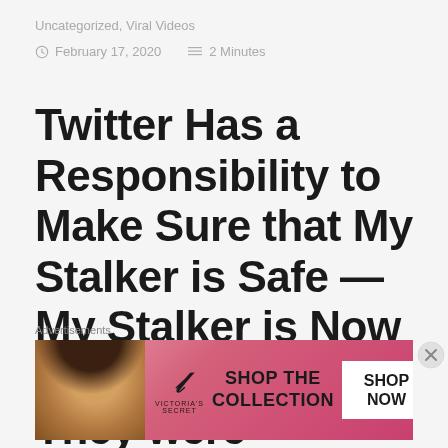Uncategorized, Viral Videos
February 17, 2020  2 Minutes
Twitter Has a Responsibility to Make Sure that My Stalker is Safe — My Stalker is Now Claiming that They were Compelled by a
Advertisements
[Figure (other): Victoria's Secret advertisement banner with pink background, woman's photo on left, VS logo, 'SHOP THE COLLECTION' text, and 'SHOP NOW' white button]